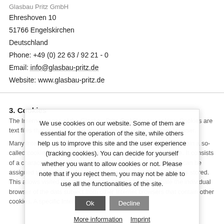Glasbau Pritz GmbH
Ehreshoven 10
51766 Engelskirchen
Deutschland
Phone: +49 (0) 22 63 / 92 21 - 0
Email: info@glasbau-pritz.de
Website: www.glasbau-pritz.de
3. Cookies
The Internet pages of the Glasbau Pritz GmbH uses cookies. Cookies are text files that are laid on a computer system via an Internet browser.
Many Internet sites and servers use cookies. Many cookies contain a so-called cookie ID. A cookie ID is a unique identifier of the cookie. It consists of a character string through which Internet pages and servers can be assigned to the specific Internet browser in which the cookie was stored. This allows visited Internet sites and servers to differentiate the individual browser of the dats subject from other Internet browsers that contain other cookies. A specific Internet browser can be
[Figure (other): Cookie consent popup with text: We use cookies on our website. Some of them are essential for the operation of the site, while others help us to improve this site and the user experience (tracking cookies). You can decide for yourself whether you want to allow cookies or not. Please note that if you reject them, you may not be able to use all the functionalities of the site. Buttons: Ok, Decline. Links: More information, Imprint.]